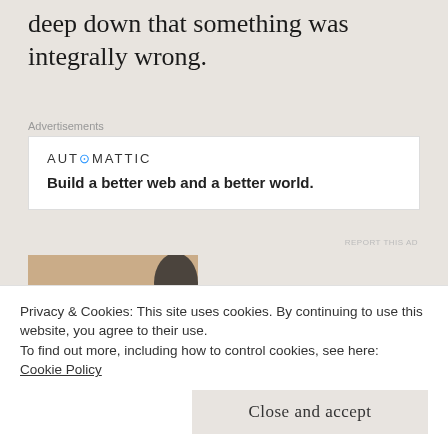deep down that something was integrally wrong.
Advertisements
[Figure (other): Automattic advertisement: 'Build a better web and a better world.']
[Figure (photo): Photo of a tattoo on skin reading 'trials' and 'In' with a red/pink curved design.]
Privacy & Cookies: This site uses cookies. By continuing to use this website, you agree to their use.
To find out more, including how to control cookies, see here: Cookie Policy
Close and accept